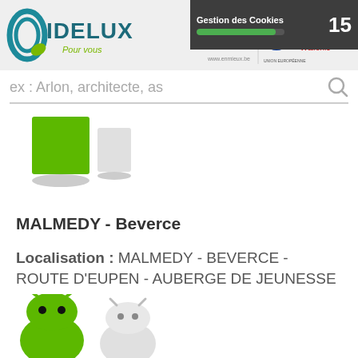[Figure (logo): IDELUX Pour vous logo with teal and green swoosh graphic]
[Figure (logo): Partner logos: enmieux.be, EU flag/FEDER, Wallonie]
[Figure (screenshot): Gestion des Cookies overlay with green progress bar and number 15]
[Figure (screenshot): Search bar with placeholder text: ex : Arlon, architecte, as and search icon]
[Figure (illustration): Two filter/map icon buttons - green filled square and white/grey square]
MALMEDY - Beverce
Localisation : MALMEDY - BEVERCE - ROUTE D'EUPEN - AUBERGE DE JEUNESSE
[Figure (illustration): Two Android-style robot icons, one green and one white/grey, partially visible at bottom]